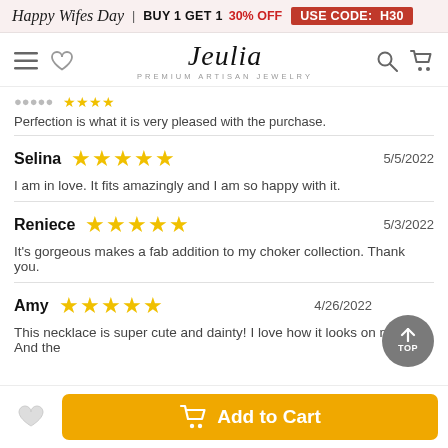Happy Wife's Day | BUY 1 GET 1 30% OFF USE CODE: H30
[Figure (logo): Jeulia Premium Artisan Jewelry logo with navigation icons (hamburger menu, heart, search, cart)]
Perfection is what it is very pleased with the purchase.
Selina ★★★★★ 5/5/2022
I am in love. It fits amazingly and I am so happy with it.
Reniece ★★★★★ 5/3/2022
It's gorgeous makes a fab addition to my choker collection. Thank you.
Amy ★★★★★ 4/26/2022
This necklace is super cute and dainty! I love how it looks on my neck. And the